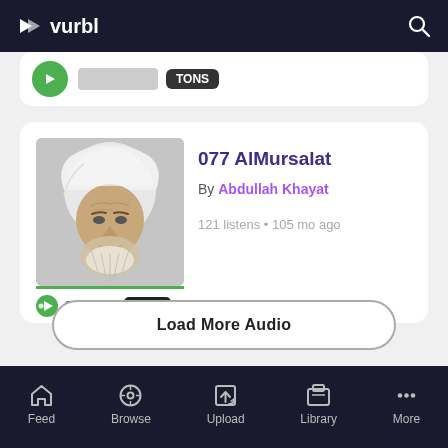vurbl
[Figure (screenshot): Partial audio card visible at top, partially cut off, showing a green play button and a dark badge]
[Figure (photo): Podcast episode card for '077 AlMursalat' by Abdullah Khayat on Quran Central channel. Shows thumbnail photo of an elderly man in white headwear, with episode title, author, stats (121 listens, 105 mo ago), and duration badge 03:03]
077 AlMursalat
By Abdullah Khayat
121 listens • 105 mo ago
Quran Ce
03:03
Load More Audio
Feed  Browse  Upload  Library  More